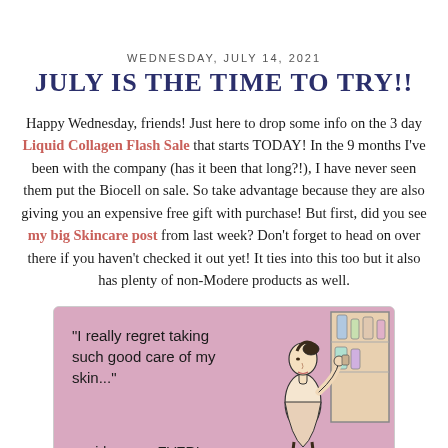WEDNESDAY, JULY 14, 2021
JULY IS THE TIME TO TRY!!
Happy Wednesday, friends! Just here to drop some info on the 3 day Liquid Collagen Flash Sale that starts TODAY! In the 9 months I've been with the company (has it been that long?!), I have never seen them put the Biocell on sale. So take advantage because they are also giving you an expensive free gift with purchase! But first, did you see my big Skincare post from last week? Don't forget to head on over there if you haven't checked it out yet! It ties into this too but it also has plenty of non-Modere products as well.
[Figure (illustration): Humorous e-card style illustration on pink background. A woman looking at her skincare products in a medicine cabinet. Text reads: '"I really regret taking such good care of my skin..."' and '- said no-one EVER!']